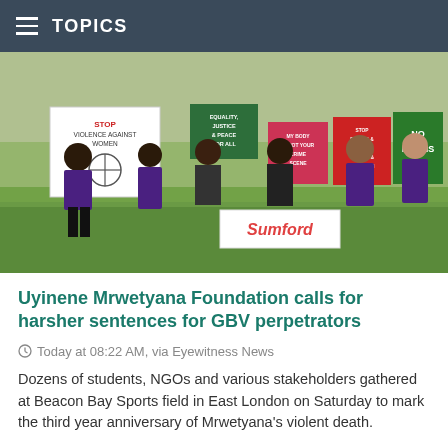TOPICS
[Figure (photo): Group of people holding protest signs at a sports field including signs reading 'STOP VIOLENCE AGAINST WOMEN', 'EQUALITY JUSTICE & PEACE FOR ALL', 'MY BODY IS NOT YOUR CRIME SCENE', 'STOP RAPING & KILLING WOMEN & CHILDREN', and 'NO MEANS NO'. People are wearing purple and black clothing.]
Uyinene Mrwetyana Foundation calls for harsher sentences for GBV perpetrators
Today at 08:22 AM, via Eyewitness News
Dozens of students, NGOs and various stakeholders gathered at Beacon Bay Sports field in East London on Saturday to mark the third year anniversary of Mrwetyana's violent death.